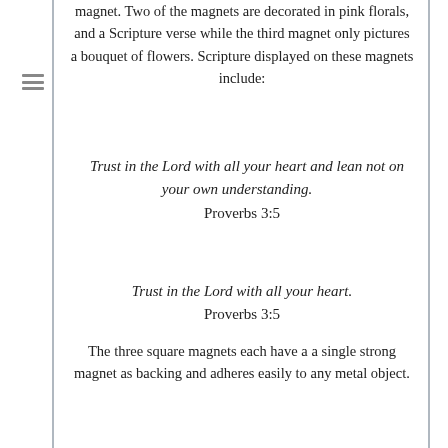magnet. Two of the magnets are decorated in pink florals, and a Scripture verse while the third magnet only pictures a bouquet of flowers. Scripture displayed on these magnets include:
Trust in the Lord with all your heart and lean not on your own understanding.
Proverbs 3:5
Trust in the Lord with all your heart.
Proverbs 3:5
The three square magnets each have a a single strong magnet as backing and adheres easily to any metal object.
The Trust in the LORD Magnet Set pairs nicely with anything from our Heart Collection, which includes a ceramic coffee mug, gift boxed pen, ceramic trinket tray, tote bag, keyring, pouch, travel mug, notebook set, and gift bag.
Make up a gift basketful Mother's Day and include the Trust in the LORD Magnet Set with a notebook set and pen or